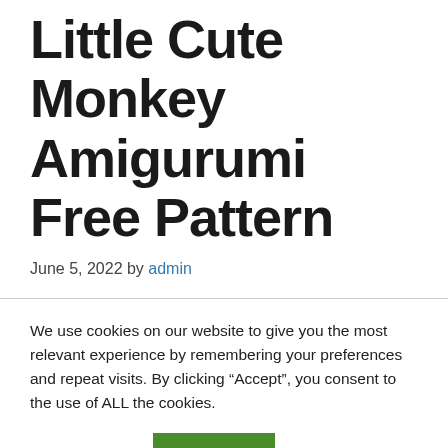Little Cute Monkey Amigurumi Free Pattern
June 5, 2022 by admin
We use cookies on our website to give you the most relevant experience by remembering your preferences and repeat visits. By clicking “Accept”, you consent to the use of ALL the cookies.
Cookie settings   ACCEPT